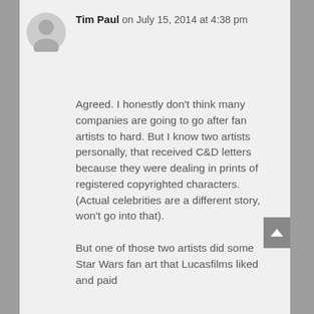Tim Paul on July 15, 2014 at 4:38 pm
Agreed. I honestly don't think many companies are going to go after fan artists to hard. But I know two artists personally, that received C&D letters because they were dealing in prints of registered copyrighted characters. (Actual celebrities are a different story, won't go into that).

But one of those two artists did some Star Wars fan art that Lucasfilms liked and paid